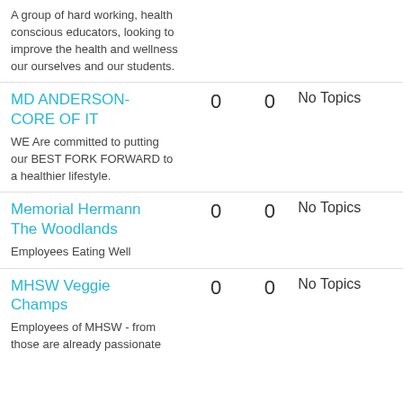Matthys Mustangs — 0 — 0 — No Topics
A group of hard working, health conscious educators, looking to improve the health and wellness our ourselves and our students.
MD ANDERSON-CORE OF IT — 0 — 0 — No Topics
WE Are committed to putting our BEST FORK FORWARD to a healthier lifestyle.
Memorial Hermann The Woodlands — 0 — 0 — No Topics
Employees Eating Well
MHSW Veggie Champs — 0 — 0 — No Topics
Employees of MHSW - from those are already passionate